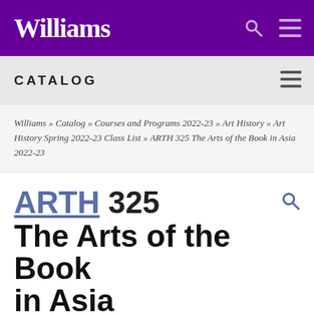Williams
CATALOG
Williams » Catalog » Courses and Programs 2022-23 » Art History » Art History Spring 2022-23 Class List » ARTH 325 The Arts of the Book in Asia 2022-23
ARTH 325 The Arts of the Book in Asia